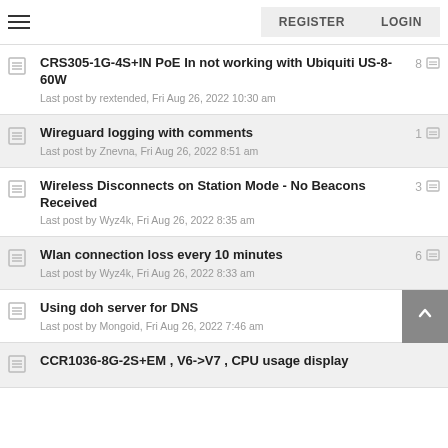REGISTER  LOGIN
CRS305-1G-4S+IN PoE In not working with Ubiquiti US-8-60W
Last post by rextended, Fri Aug 26, 2022 10:30 am
8
Wireguard logging with comments
Last post by Znevna, Fri Aug 26, 2022 8:51 am
1
Wireless Disconnects on Station Mode - No Beacons Received
Last post by Wyz4k, Fri Aug 26, 2022 8:35 am
3
Wlan connection loss every 10 minutes
Last post by Wyz4k, Fri Aug 26, 2022 8:33 am
6
Using doh server for DNS
Last post by Mongoid, Fri Aug 26, 2022 7:46 am
CCR1036-8G-2S+EM , V6->V7 , CPU usage display